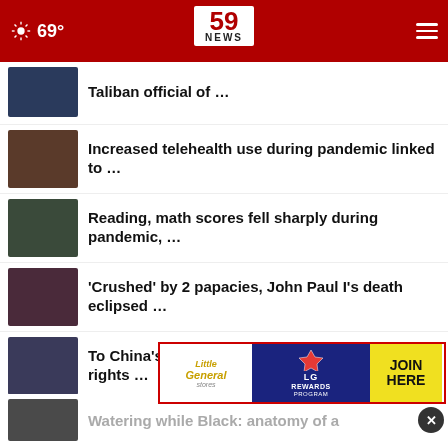59 NEWS — 69°
Taliban official of …
Increased telehealth use during pandemic linked to …
Reading, math scores fell sharply during pandemic, …
'Crushed' by 2 papacies, John Paul I's death eclipsed …
To China's fury, UN accuses Beijing of Uyghur rights …
Hezbollah at 40 stronger than ever
[Figure (logo): Little General LG Rewards Program advertisement banner with JOIN HERE button]
Watering while Black: anatomy of a